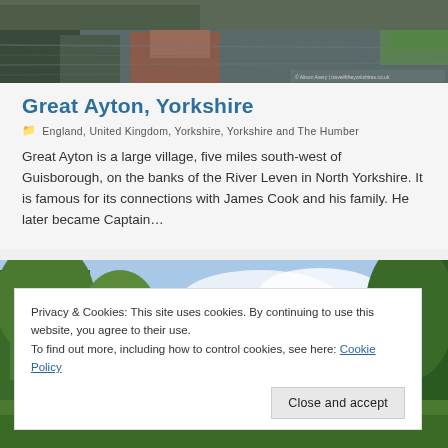[Figure (photo): Aerial or riverside photo of a canal/river with reflections of trees and brick buildings in the water, muted autumn tones]
Great Ayton, Yorkshire
England, United Kingdom, Yorkshire, Yorkshire and The Humber
Great Ayton is a large village, five miles south-west of Guisborough, on the banks of the River Leven in North Yorkshire. It is famous for its connections with James Cook and his family. He later became Captain…
[Figure (photo): Outdoor landscape photo with trees and blue sky, partially visible]
Privacy & Cookies: This site uses cookies. By continuing to use this website, you agree to their use.
To find out more, including how to control cookies, see here: Cookie Policy
Close and accept